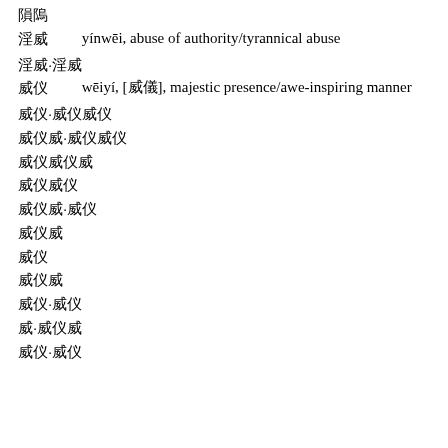䘖 䘗
淫威      yínwēi, abuse of authority/tyrannical abuse
淫威·淫威
威仪      wēiyí, [威儀], majestic presence/awe-inspiring manner
威仪·威仪威仪
威仪·威仪威仪
威仪威仪威
威仪威仪
威仪·威仪
威仪威
威仪
威仪威
威仪·威仪
威·威仪威
威仪·威仪